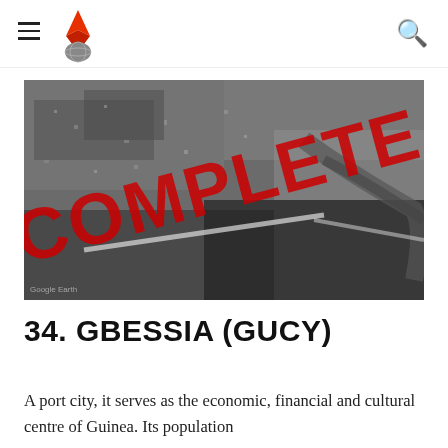≡ [logo] 🔍
[Figure (photo): Aerial/satellite black and white photograph of Gbessia (Conakry, Guinea) port city coastline, with a large red diagonal 'COMPLETE' watermark stamp overlaid on the image. Attribution text 'Google Earth' visible in lower left corner.]
34. GBESSIA (GUCY)
A port city, it serves as the economic, financial and cultural centre of Guinea. Its population